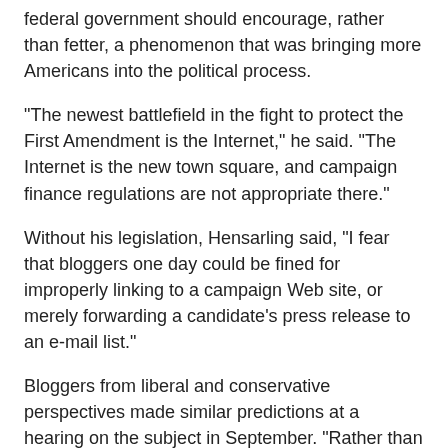federal government should encourage, rather than fetter, a phenomenon that was bringing more Americans into the political process.
"The newest battlefield in the fight to protect the First Amendment is the Internet," he said. "The Internet is the new town square, and campaign finance regulations are not appropriate there."
Without his legislation, Hensarling said, "I fear that bloggers one day could be fined for improperly linking to a campaign Web site, or merely forwarding a candidate's press release to an e-mail list."
Bloggers from liberal and conservative perspectives made similar predictions at a hearing on the subject in September. "Rather than deal with the red tape of regulation and the risk of legal problems, they will fall silent on all issues of politics," said Michael J. Krempasky, director of the Web site RedState.org.
House Speaker Dennis Hastert, R-Ill., writing Wednesday on